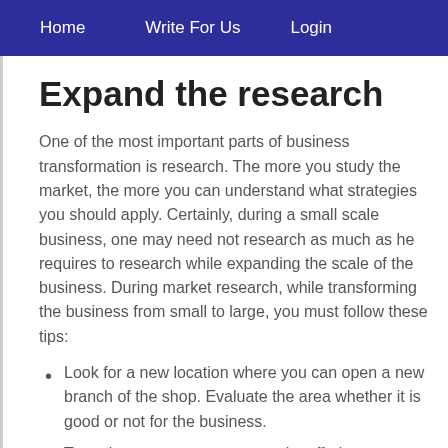Home   Write For Us   Login
Expand the research
One of the most important parts of business transformation is research. The more you study the market, the more you can understand what strategies you should apply. Certainly, during a small scale business, one may need not research as much as he requires to research while expanding the scale of the business. During market research, while transforming the business from small to large, you must follow these tips:
Look for a new location where you can open a new branch of the shop. Evaluate the area whether it is good or not for the business.
Try to impress new consumers by offering